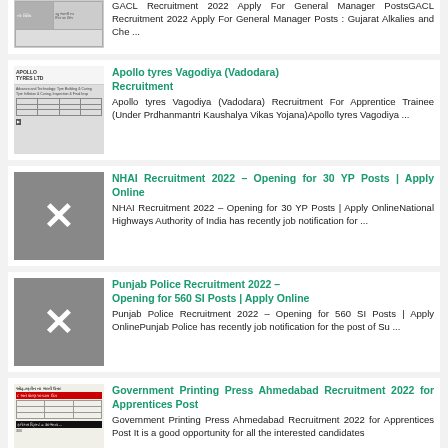[Figure (screenshot): Partial thumbnail of GACL Recruitment document with table]
GACL Recruitment 2022 Apply For General Manager PostsGACL Recruitment 2022 Apply For General Manager Posts : Gujarat Alkalies and Che ...
[Figure (screenshot): Thumbnail of Apollo Tyres Vagodiya recruitment document]
Apollo tyres Vagodiya (Vadodara) Recruitment
Apollo tyres Vagodiya (Vadodara) Recruitment For Apprentice Trainee (Under Prdhanmantri Kaushalya Vikas Yojana)Apollo tyres Vagodiya ...
[Figure (other): Grey placeholder image with X mark]
NHAI Recruitment 2022 – Opening for 30 YP Posts | Apply Online
NHAI Recruitment 2022 – Opening for 30 YP Posts | Apply OnlineNational Highways Authority of India has recently job notification for ...
[Figure (other): Grey placeholder image with X mark]
Punjab Police Recruitment 2022 – Opening for 560 SI Posts | Apply Online
Punjab Police Recruitment 2022 – Opening for 560 SI Posts | Apply OnlinePunjab Police has recently job notification for the post of Su ...
[Figure (screenshot): Thumbnail of Government Printing Press Ahmedabad recruitment document]
Government Printing Press Ahmedabad Recruitment 2022 for Apprentices Post
Government Printing Press Ahmedabad Recruitment 2022 for Apprentices Post It is a good opportunity for all the interested candidates